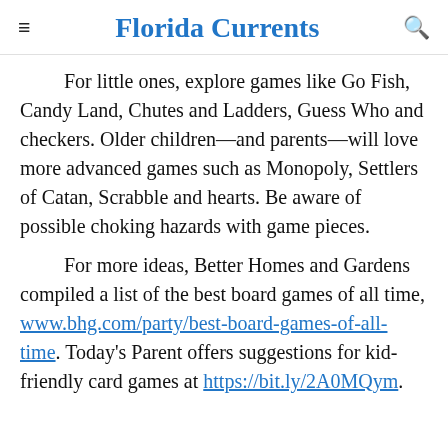Florida Currents
For little ones, explore games like Go Fish, Candy Land, Chutes and Ladders, Guess Who and checkers. Older children—and parents—will love more advanced games such as Monopoly, Settlers of Catan, Scrabble and hearts. Be aware of possible choking hazards with game pieces.
For more ideas, Better Homes and Gardens compiled a list of the best board games of all time, www.bhg.com/party/best-board-games-of-all-time. Today's Parent offers suggestions for kid-friendly card games at https://bit.ly/2A0MQym.